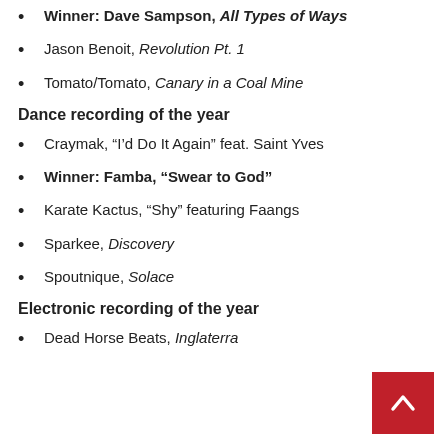Winner: Dave Sampson, All Types of Ways
Jason Benoit, Revolution Pt. 1
Tomato/Tomato, Canary in a Coal Mine
Dance recording of the year
Craymak, “I’d Do It Again” feat. Saint Yves
Winner: Famba, “Swear to God”
Karate Kactus, “Shy” featuring Faangs
Sparkee, Discovery
Spoutnique, Solace
Electronic recording of the year
Dead Horse Beats, Inglaterra